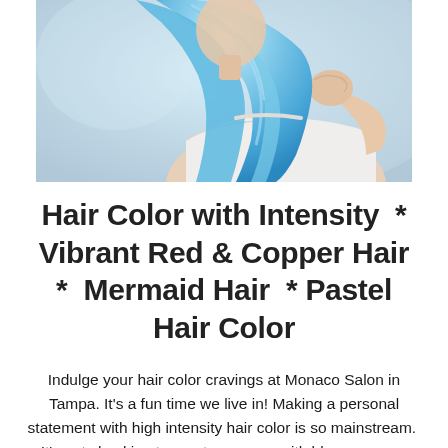[Figure (photo): Woman with long blue/light blue wavy hair, wearing a white off-shoulder top, photographed from behind/side against a light grey background.]
Hair Color with Intensity  *  Vibrant Red & Copper Hair  *  Mermaid Hair  *  Pastel Hair Color
Indulge your hair color cravings at Monaco Salon in Tampa. It's a fun time we live in! Making a personal statement with high intensity hair color is so mainstream.  It's not shocking to meet someone with blue, green or purple hair. But wearing a vibrant color - and wearing it well - is all about